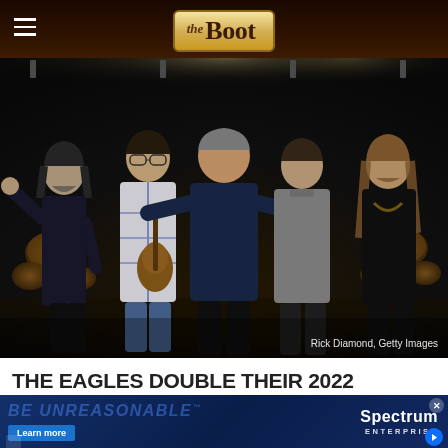the Boot
[Figure (photo): Five men standing on a concert stage. Left to right: a man with gray beard and long dark hair making a hand gesture; a tall man with glasses and plaid shirt holding a guitar; a heavyset man in dark shirt with arms around others; a young man in gray hoodie; a long-haired man in black with necklace. Drums and stage equipment visible in background. Photo credit: Rick Diamond, Getty Images]
Rick Diamond, Getty Images
THE EAGLES DOUBLE THEIR 2022
[Figure (screenshot): Advertisement banner with dark blue background. Text: BE UNREASONABLE™ in large faded blue italic letters. Learn more button in blue. Spectrum Enterprise logo on the right with close (x) button in top right corner.]